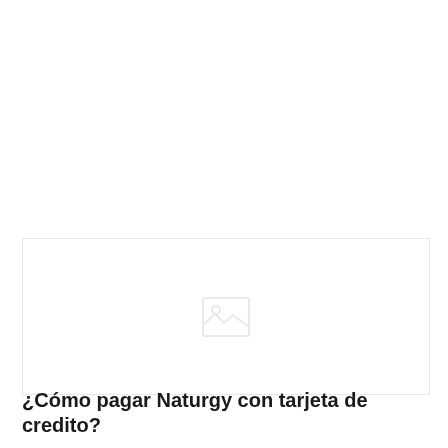[Figure (photo): Placeholder image area with a faint image loading icon in the center, bordered by a light grey rectangle]
¿Cómo pagar Naturgy con tarjeta de credito?